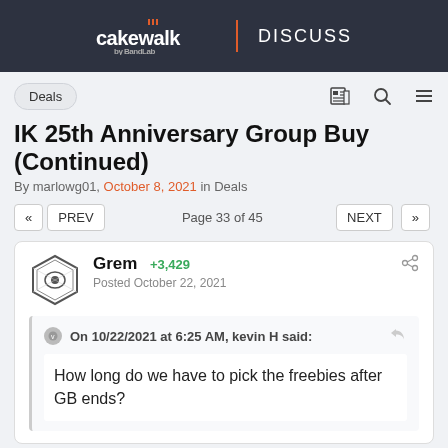cakewalk by BandLab | DISCUSS
Deals
IK 25th Anniversary Group Buy (Continued)
By marlowg01, October 8, 2021 in Deals
« PREV   Page 33 of 45   NEXT »
Grem +3,429
Posted October 22, 2021
On 10/22/2021 at 6:25 AM, kevin H said:
How long do we have to pick the freebies after GB ends?